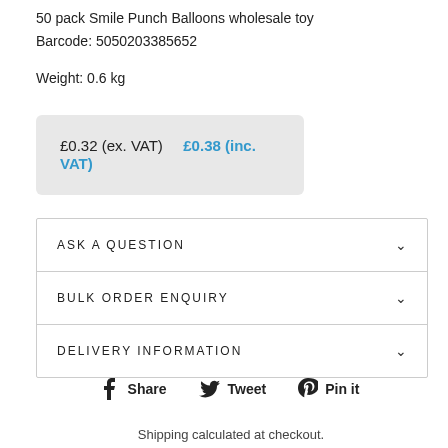50 pack Smile Punch Balloons wholesale toy
Barcode: 5050203385652
Weight: 0.6 kg
£0.32 (ex. VAT)  £0.38 (inc. VAT)
ASK A QUESTION
BULK ORDER ENQUIRY
DELIVERY INFORMATION
Share  Tweet  Pin it
Shipping calculated at checkout.